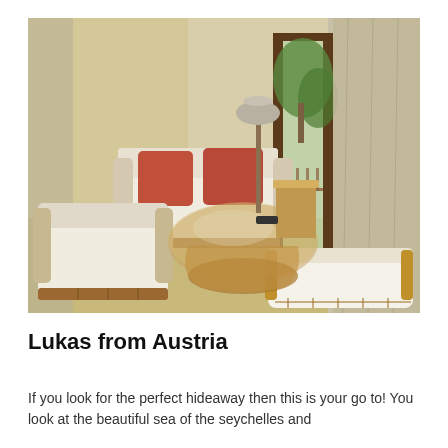[Figure (photo): Interior photo of a tropical resort room with rattan/wicker furniture including a loveseat with red/orange cushions, two armchairs with white cushions, a round glass-top coffee table, and a footstool. A sliding glass door opens to a balcony with views of trees. A floor lamp is visible in the background. The room has beige walls and tile flooring.]
Lukas from Austria
If you look for the perfect hideaway then this is your go to! You look at the beautiful sea of the seychelles and